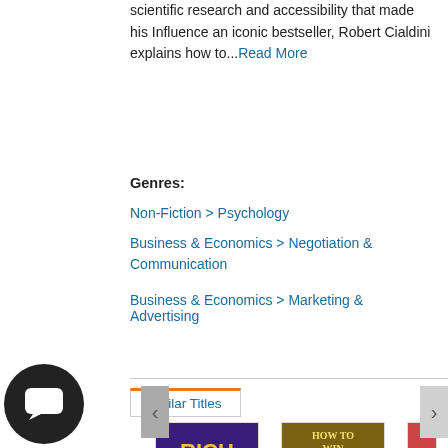scientific research and accessibility that made his Influence an iconic bestseller, Robert Cialdini explains how to...Read More
Genres:
Non-Fiction > Psychology
Business & Economics > Negotiation & Communication
Business & Economics > Marketing & Advertising
Similar Titles
[Figure (illustration): Book cover for Rich Dad Poor Dad by Robert Kiyosaki - purple background with yellow text]
[Figure (illustration): Book cover for How to Win Friends and Influence People by Dale Carnegie - dark gold/brown background]
[Figure (illustration): Partially visible third book cover with red element]